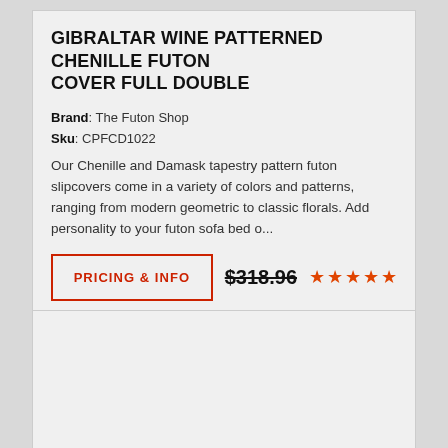GIBRALTAR WINE PATTERNED CHENILLE FUTON COVER FULL DOUBLE
Brand: The Futon Shop
Sku: CPFCD1022
Our Chenille and Damask tapestry pattern futon slipcovers come in a variety of colors and patterns, ranging from modern geometric to classic florals. Add personality to your futon sofa bed o...
PRICING & INFO  $318.96  ★★★★★